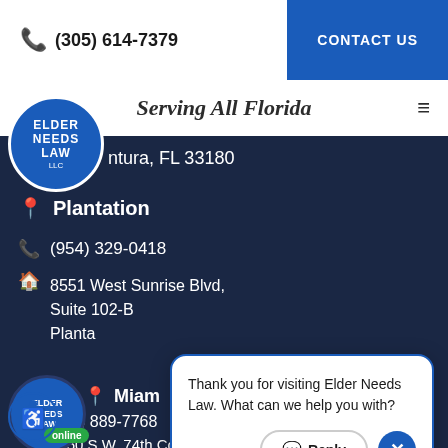(305) 614-7379 | CONTACT US
Serving All Florida
ntura, FL 33180
Plantation
(954) 329-0418
8551 West Sunrise Blvd, Suite 102-B
Planta
[Figure (logo): Elder Needs Law LLC circular blue logo]
Miami
(305) 889-7768
8950 S.W. 74th Court, Suite 2201-B
Miami, FL 33156
Thank you for visiting Elder Needs Law. What can we help you with?
[Figure (logo): Accessibility icon — person in wheelchair]